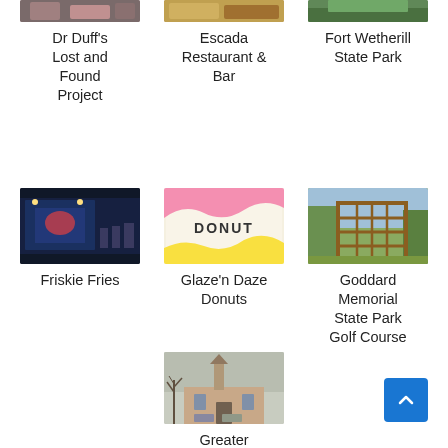[Figure (photo): Partial photo of people, cropped at top]
Dr Duff's Lost and Found Project
[Figure (photo): Partial photo of food/restaurant, cropped at top]
Escada Restaurant & Bar
[Figure (photo): Partial photo of park/nature, cropped at top]
Fort Wetherill State Park
[Figure (photo): Interior of Friskie Fries restaurant with neon sign]
Friskie Fries
[Figure (photo): Donut box with Glaze'n Daze branding]
Glaze'n Daze Donuts
[Figure (photo): Wooden frame structure at Goddard Memorial State Park Golf Course]
Goddard Memorial State Park Golf Course
[Figure (photo): Exterior photo of Greater Rhode Island Baptist Temple with bare tree]
Greater Rhode Island Baptist Temple